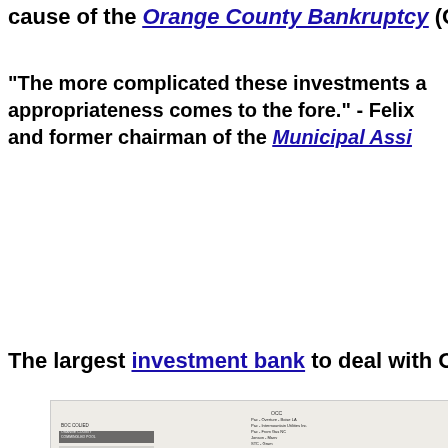cause of the Orange County Bankruptcy (OC...
"The more complicated these investments a... appropriateness comes to the fore." - Felix ... and former chairman of the Municipal Assi...
The largest investment bank to deal with O...
[Figure (schematic): A complex hand-drawn network diagram showing interconnected nodes with circles, arrows, and handwritten labels, depicting financial relationships related to the Orange County investment pool. Includes a legend/key on the left side with text blocks.]